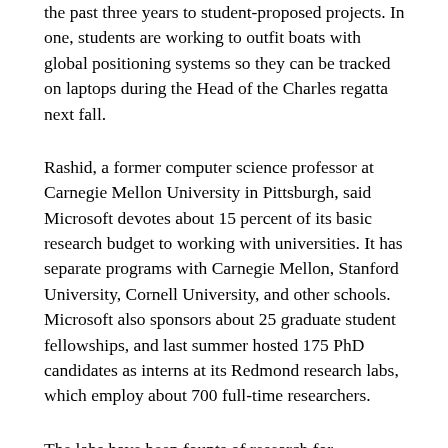the past three years to student-proposed projects. In one, students are working to outfit boats with global positioning systems so they can be tracked on laptops during the Head of the Charles regatta next fall.
Rashid, a former computer science professor at Carnegie Mellon University in Pittsburgh, said Microsoft devotes about 15 percent of its basic research budget to working with universities. It has separate programs with Carnegie Mellon, Stanford University, Cornell University, and other schools. Microsoft also sponsors about 25 graduate student fellowships, and last summer hosted 175 PhD candidates as interns at its Redmond research labs, which employ about 700 full-time researchers.
The labs have been founts of research for technologies, ranging from digital media players to Tablet computers to "smart" wrist watches, that eventually become Microsoft products. Rashid said his research teams now are working on storage, search, and graphics technologies, and on